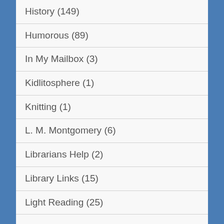History (149)
Humorous (89)
In My Mailbox (3)
Kidlitosphere (1)
Knitting (1)
L. M. Montgomery (6)
Librarians Help (2)
Library Links (15)
Light Reading (25)